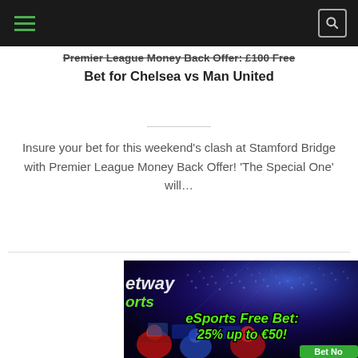Navigation bar with hamburger menu and search icon
Premier League Money Back Offer: £100 Free Bet for Chelsea vs Man United
Insure your bet for this weekend's clash at Stamford Bridge with Premier League Money Back Offer! 'The Special One' will…
[Figure (photo): eSports promotional image showing a large arena with crowd, players at computers, Betway Sports branding, and text 'eSports Free Bet: 25% up to €50!' with a green 'Bet Now' button]